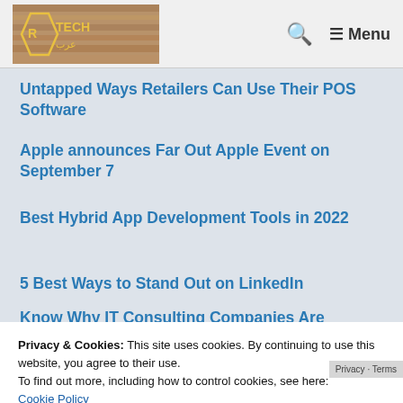TechArabia logo, search icon, Menu
Untapped Ways Retailers Can Use Their POS Software
Apple announces Far Out Apple Event on September 7
Best Hybrid App Development Tools in 2022
5 Best Ways to Stand Out on LinkedIn
Know Why IT Consulting Companies Are
Privacy & Cookies: This site uses cookies. By continuing to use this website, you agree to their use.
To find out more, including how to control cookies, see here:
Cookie Policy
Close and accept
Your Daily Living
How can Businesses Become more
Privacy · Terms